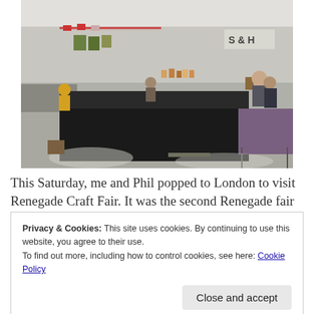[Figure (photo): Indoor craft fair scene showing vendor tables covered with handmade goods, cards, and crafts. Multiple people browsing. A sign reading 'S & H' is visible in the background on the right side. Tables draped with black tablecloths in the foreground.]
This Saturday, me and Phil popped to London to visit Renegade Craft Fair. It was the second Renegade fair
Privacy & Cookies: This site uses cookies. By continuing to use this website, you agree to their use.
To find out more, including how to control cookies, see here: Cookie Policy
Close and accept
I love the flyer produced to advertise the fair.